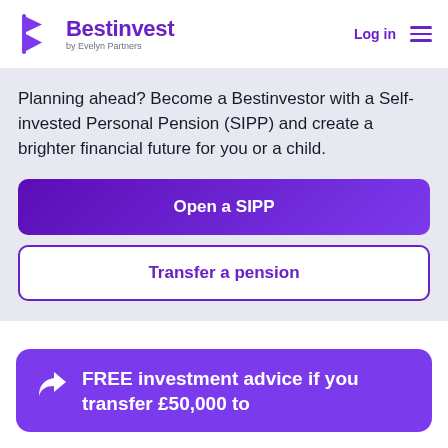[Figure (logo): Bestinvest by Evelyn Partners logo — purple arrow/B icon with company name]
Log in
Planning ahead? Become a Bestinvestor with a Self-invested Personal Pension (SIPP) and create a brighter financial future for you or a child.
Open a SIPP
Transfer a pension
FREE investment advice if you transfer £50,000 to